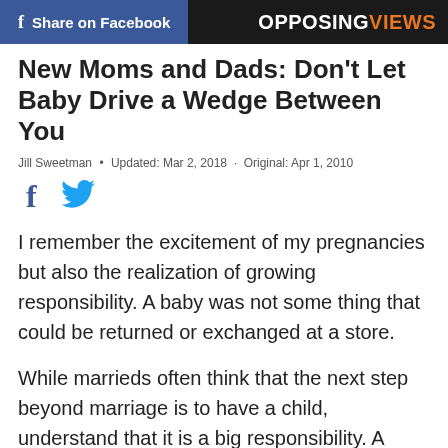Share on Facebook | OPPOSINGVIEWS
New Moms and Dads: Don't Let Baby Drive a Wedge Between You
Jill Sweetman • Updated: Mar 2, 2018 · Original: Apr 1, 2010
[Figure (illustration): Facebook and Twitter social sharing icons (f and bird symbol) in blue]
I remember the excitement of my pregnancies but also the realization of growing responsibility. A baby was not some thing that could be returned or exchanged at a store.
While marrieds often think that the next step beyond marriage is to have a child, understand that it is a big responsibility. A child should not be